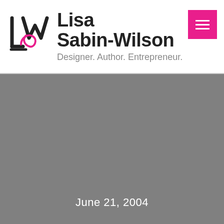[Figure (logo): LSW logo monogram in black with pink accent, next to bold text 'Lisa Sabin-Wilson' and tagline 'Designer. Author. Entrepreneur.']
June 21, 2004